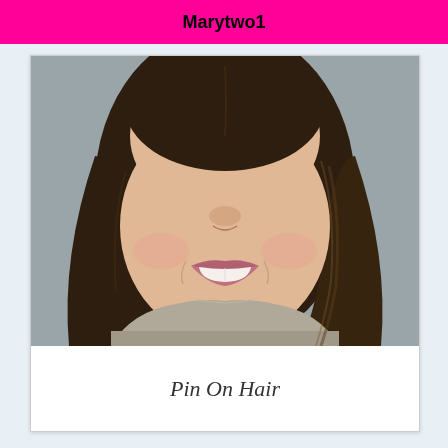Marytwo1
[Figure (photo): Close-up portrait photo of a young woman with dark brown shoulder-length hair, smiling, wearing a grey knit top and a delicate necklace, photographed against a grey background.]
Pin On Hair